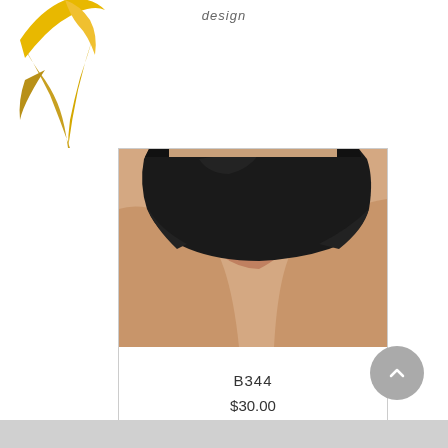[Figure (logo): Gold decorative logo graphic with flowing lines on white background]
design
[Figure (photo): Close-up photo of a person wearing black athletic shorts/bikini bottoms, showing torso and upper legs against a light background]
B344
$30.00